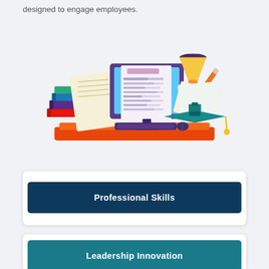designed to engage employees.
[Figure (illustration): Colorful illustration of a computer monitor displaying a resume/document, surrounded by stacked books, papers, an hourglass, a pencil, and a graduation cap on an orange desk platform.]
Professional Skills
Leadership Innovation